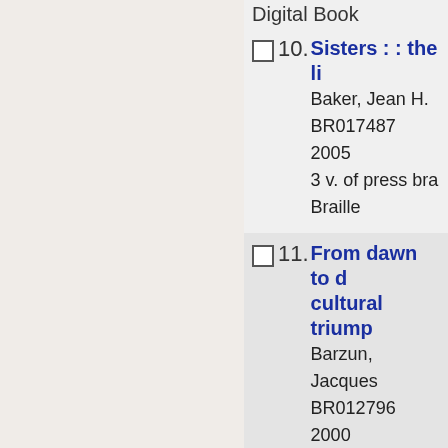Digital Book
10. Sisters : : the li
Baker, Jean H.
BR017487
2005
3 v. of press bra
Braille
11. From dawn to d cultural triump
Barzun, Jacques
BR012796
2000
11 v. of press br
Braille